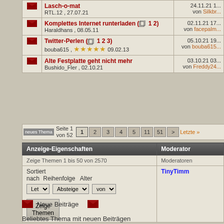|  | Topic | Date/Author |
| --- | --- | --- |
| [envelope] | Lasch-o-mat
RTL.12 , 27.07.21 | 24.11.21 1...
von Silkbr... |
| [envelope] | Komplettes Internet runterladen ( 1 2)
Haraldhans , 08.05.11 | 02.11.21 17...
von facepalm... |
| [envelope] | Twitter-Perlen ( 1 2 3)
bouba615 , ☆☆☆☆☆ 09.02.13 | 05.10.21 19...
von bouba615... |
| [envelope] | Alte Festplatte geht nicht mehr
Bushido_Fler , 02.10.21 | 03.10.21 03...
von Freddy24... |
Seite 1 von 52  1 2 3 4 5 11 51 > Letzte »
| Anzeige-Eigenschaften | Moderator |
| --- | --- |
| Zeige Themen 1 bis 50 von 2570 | Moderatoren |
| Sortiert nach [Let▼]  Reihenfolge [Absteige▼]  Alter [von ▼]
[Zeige Themen] | TinyTimm |
Neue Beiträge
Beliebtes Thema mit neuen Beiträgen